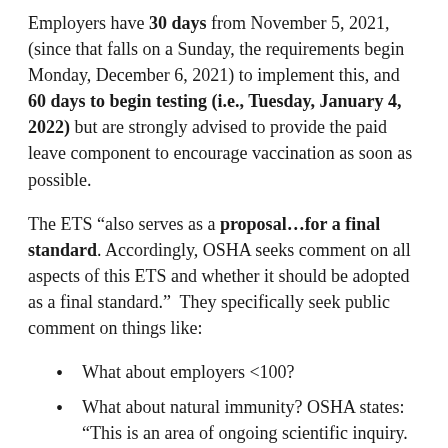Employers have 30 days from November 5, 2021, (since that falls on a Sunday, the requirements begin Monday, December 6, 2021) to implement this, and 60 days to begin testing (i.e., Tuesday, January 4, 2022) but are strongly advised to provide the paid leave component to encourage vaccination as soon as possible.
The ETS “also serves as a proposal…for a final standard. Accordingly, OSHA seeks comment on all aspects of this ETS and whether it should be adopted as a final standard.”  They specifically seek public comment on things like:
What about employers <100?
What about natural immunity? OSHA states: “This is an area of ongoing scientific inquiry. Given scientific